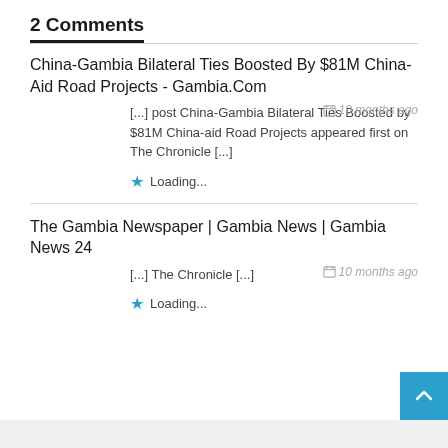2 Comments
China-Gambia Bilateral Ties Boosted By $81M China-Aid Road Projects - Gambia.Com
[...] post China-Gambia Bilateral Ties Boosted by $81M China-aid Road Projects appeared first on The Chronicle [...]
10 months ago
Loading...
The Gambia Newspaper | Gambia News | Gambia News 24
[...] The Chronicle [...]
10 months ago
Loading...